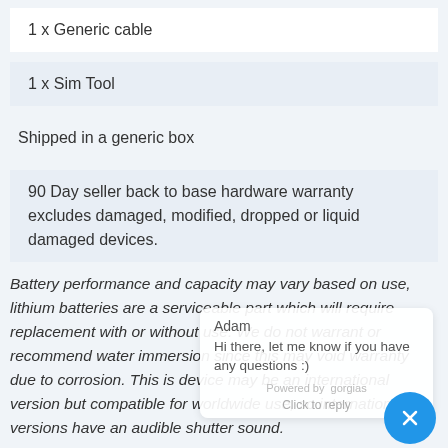1 x Generic cable
1 x Sim Tool
Shipped in a generic box
90 Day seller back to base hardware warranty excludes damaged, modified, dropped or liquid damaged devices.
Battery performance and capacity may vary based on use, lithium batteries are a serviceable part which will require replacement with or without use. We do not warrant or recommend water immersion since this may void warranty due to corrosion. This is device may be an international version but compatible for worldwide use, so international versions have an audible shutter sound.